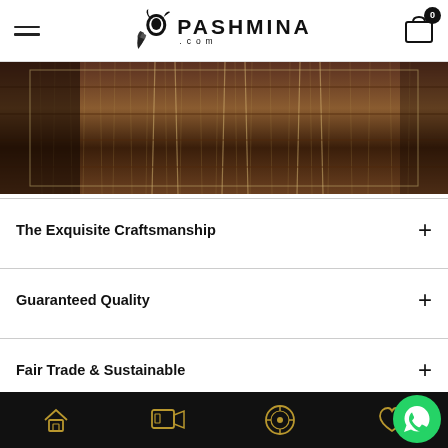PASHMINA.com — navigation header with hamburger menu and cart (0 items)
[Figure (photo): Close-up photograph of pashmina wool fibers on a loom, showing threads and weaving detail in warm brown tones with a subtle golden border overlay]
The Exquisite Craftsmanship +
Guaranteed Quality +
Fair Trade & Sustainable +
Customer Reviews + (partially visible)
Bottom navigation bar with icons: home, video/media, logo/emblem, heart/favorites, and WhatsApp chat button